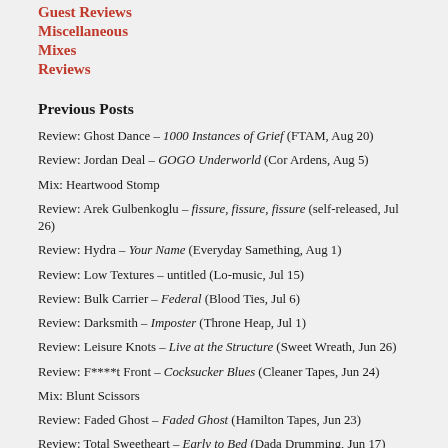Guest Reviews
Miscellaneous
Mixes
Reviews
Previous Posts
Review: Ghost Dance – 1000 Instances of Grief (FTAM, Aug 20)
Review: Jordan Deal – GOGO Underworld (Cor Ardens, Aug 5)
Mix: Heartwood Stomp
Review: Arek Gulbenkoglu – fissure, fissure, fissure (self-released, Jul 26)
Review: Hydra – Your Name (Everyday Samething, Aug 1)
Review: Low Textures – untitled (Lo-music, Jul 15)
Review: Bulk Carrier – Federal (Blood Ties, Jul 6)
Review: Darksmith – Imposter (Throne Heap, Jul 1)
Review: Leisure Knots – Live at the Structure (Sweet Wreath, Jun 26)
Review: F****t Front – Cocksucker Blues (Cleaner Tapes, Jun 24)
Mix: Blunt Scissors
Review: Faded Ghost – Faded Ghost (Hamilton Tapes, Jun 23)
Review: Total Sweetheart – Early to Bed (Dada Drumming, Jun 17)